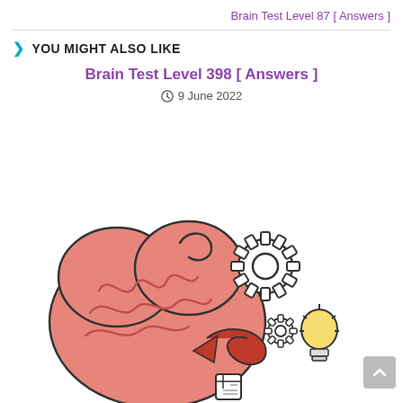Brain Test Level 87 [ Answers ]
YOU MIGHT ALSO LIKE
Brain Test Level 398 [ Answers ]
9 June 2022
[Figure (illustration): Cartoon illustration of a pink brain with a gear, red arrow, lightbulb, and other elements suggesting thinking and problem solving]